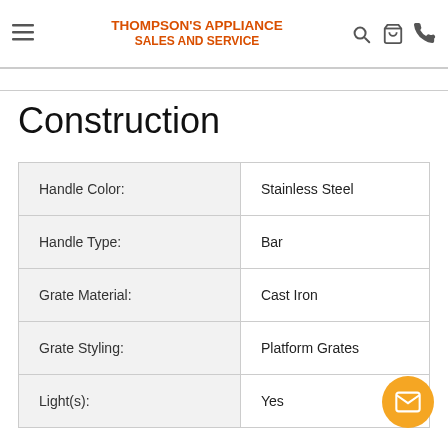[Figure (logo): Thompson's Appliance Sales and Service logo with hamburger menu and icons]
Construction
| Handle Color: | Stainless Steel |
| Handle Type: | Bar |
| Grate Material: | Cast Iron |
| Grate Styling: | Platform Grates |
| Light(s): | Yes |